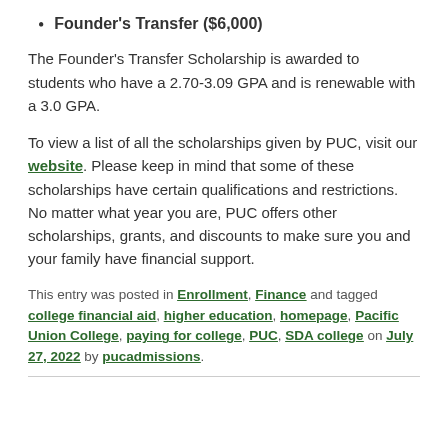Founder's Transfer ($6,000)
The Founder's Transfer Scholarship is awarded to students who have a 2.70-3.09 GPA and is renewable with a 3.0 GPA.
To view a list of all the scholarships given by PUC, visit our website. Please keep in mind that some of these scholarships have certain qualifications and restrictions. No matter what year you are, PUC offers other scholarships, grants, and discounts to make sure you and your family have financial support.
This entry was posted in Enrollment, Finance and tagged college financial aid, higher education, homepage, Pacific Union College, paying for college, PUC, SDA college on July 27, 2022 by pucadmissions.